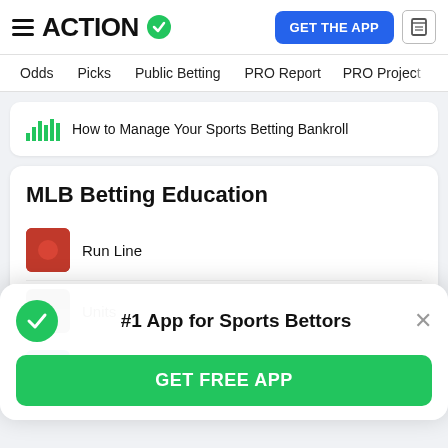ACTION — GET THE APP
Odds | Picks | Public Betting | PRO Report | PRO Project
How to Manage Your Sports Betting Bankroll
MLB Betting Education
Run Line
Units
15 Tips for Betting Baseball
#1 App for Sports Bettors
GET FREE APP